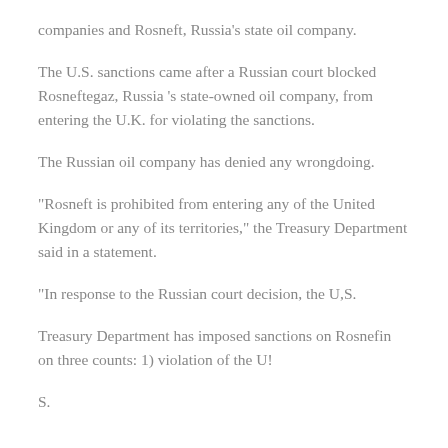companies and Rosneft, Russia's state oil company.
The U.S. sanctions came after a Russian court blocked Rosneftegaz, Russia 's state-owned oil company, from entering the U.K. for violating the sanctions.
The Russian oil company has denied any wrongdoing.
“Rosneft is prohibited from entering any of the United Kingdom or any of its territories,” the Treasury Department said in a statement.
“In response to the Russian court decision, the U,S.
Treasury Department has imposed sanctions on Rosnefin on three counts: 1) violation of the U!
S.